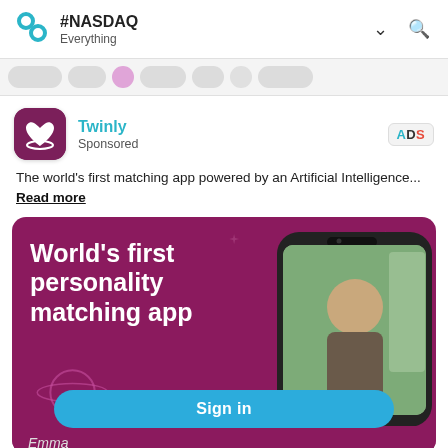#NASDAQ Everything
[Figure (screenshot): Navigation scroll bar with blurred/cropped social post icons]
[Figure (logo): Twinly app icon - purple background with heart and Saturn-ring shape]
Twinly
Sponsored
[Figure (logo): ADS badge label in top right]
The world's first matching app powered by an Artificial Intelligence... Read more
[Figure (infographic): Twinly ad banner: deep purple/maroon background with text 'World's first personality matching app', decorative planet and star shapes, phone mockup showing a woman, blue 'Sign in' button, 'Emma' text at bottom]